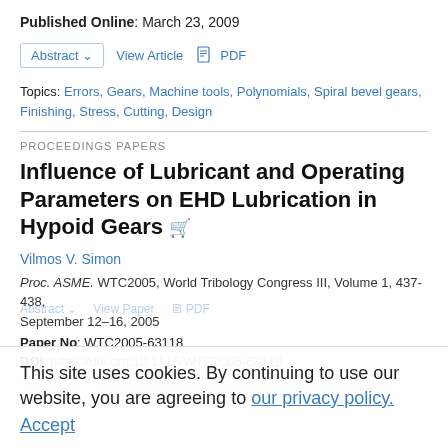Published Online: March 23, 2009
Abstract | View Article | PDF
Topics: Errors, Gears, Machine tools, Polynomials, Spiral bevel gears, Finishing, Stress, Cutting, Design
PROCEEDINGS PAPERS
Influence of Lubricant and Operating Parameters on EHD Lubrication in Hypoid Gears
Vilmos V. Simon
Proc. ASME. WTC2005, World Tribology Congress III, Volume 1, 437-438, September 12–16, 2005
Paper No: WTC2005-63118
DOI: https://doi.org/10.1115/WTC2005-63118
This site uses cookies. By continuing to use our website, you are agreeing to our privacy policy. Accept